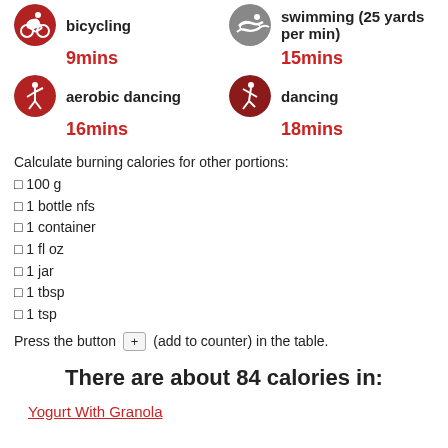[Figure (infographic): Bicycling activity icon with red circle background]
bicycling
9mins
[Figure (infographic): Swimming activity icon with gray circle background]
swimming (25 yards per min)
15mins
[Figure (infographic): Aerobic dancing activity icon with red circle background]
aerobic dancing
16mins
[Figure (infographic): Dancing activity icon with red circle background]
dancing
18mins
Calculate burning calories for other portions:
□ 100 g
□ 1 bottle nfs
□ 1 container
□ 1 fl oz
□ 1 jar
□ 1 tbsp
□ 1 tsp
Press the button + (add to counter) in the table.
There are about 84 calories in:
Yogurt With Granola